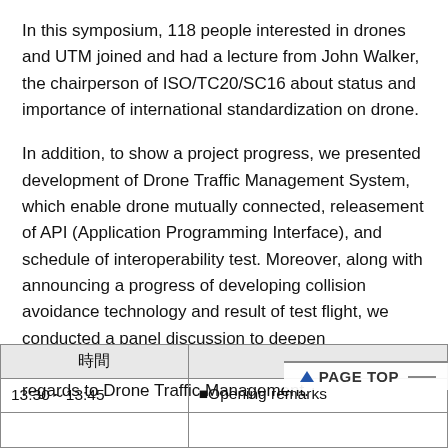In this symposium, 118 people interested in drones and UTM joined and had a lecture from John Walker, the chairperson of ISO/TC20/SC16 about status and importance of international standardization on drone.
In addition, to show a project progress, we presented development of Drone Traffic Management System, which enable drone mutually connected, releasement of API (Application Programming Interface), and schedule of interoperability test. Moreover, along with announcing a progress of developing collision avoidance technology and result of test flight, we conducted a panel discussion to deepen understanding on importance of interoperability in regards to Drone Traffic Management.
| 時間 |  |
| --- | --- |
| 13:30～13:45 | ■Opening remarks |
|  |  |